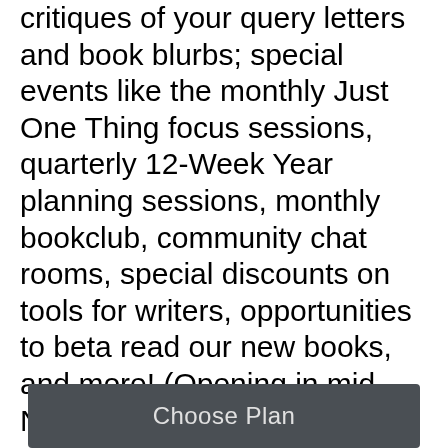critiques of your query letters and book blurbs; special events like the monthly Just One Thing focus sessions, quarterly 12-Week Year planning sessions, monthly bookclub, community chat rooms, special discounts on tools for writers, opportunities to beta read our new books, and more! (Opening in mid-November to new members).
Choose Plan